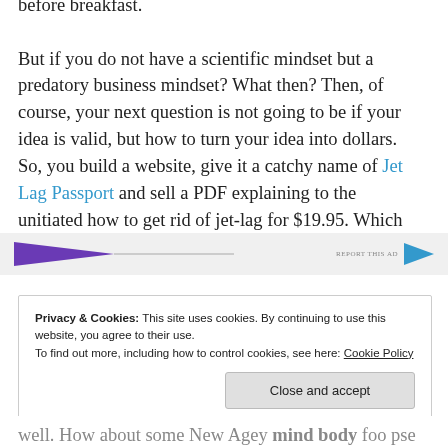before breakfast. But if you do not have a scientific mindset but a predatory business mindset? What then? Then, of course, your next question is not going to be if your idea is valid, but how to turn your idea into dollars. So, you build a website, give it a catchy name of Jet Lag Passport and sell a PDF explaining to the unitiated how to get rid of jet-lag for $19.95. Which doesn't work.
[Figure (other): Advertisement banner with purple triangle arrow on left, horizontal line, and teal/blue arrow on right with 'REPORT THIS AD' text]
Privacy & Cookies: This site uses cookies. By continuing to use this website, you agree to their use.
To find out more, including how to control cookies, see here: Cookie Policy

Close and accept
well. How about some New Agey mind-body foo pse...